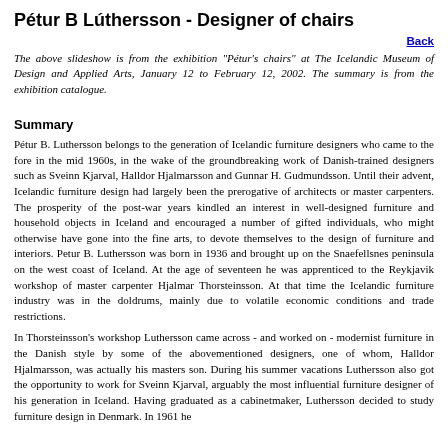Pétur B Lúthersson - Designer of chairs
Back
The above slideshow is from the exhibition "Pétur's chairs" at The Icelandic Museum of Design and Applied Arts, January 12 to February 12, 2002. The summary is from the exhibition catalogue.
Summary
Pétur B. Luthersson belongs to the generation of Icelandic furniture designers who came to the fore in the mid 1960s, in the wake of the groundbreaking work of Danish-trained designers such as Sveinn Kjarval, Halldor Hjalmarsson and Gunnar H. Gudmundsson. Until their advent, Icelandic furniture design had largely been the prerogative of architects or master carpenters. The prosperity of the post-war years kindled an interest in well-designed furniture and household objects in Iceland and encouraged a number of gifted individuals, who might otherwise have gone into the fine arts, to devote themselves to the design of furniture and interiors. Petur B. Luthersson was born in 1936 and brought up on the Snaefellsnes peninsula on the west coast of Iceland. At the age of seventeen he was apprenticed to the Reykjavik workshop of master carpenter Hjalmar Thorsteinsson. At that time the Icelandic furniture industry was in the doldrums, mainly due to volatile economic conditions and trade restrictions.
In Thorsteinsson's workshop Luthersson came across - and worked on - modernist furniture in the Danish style by some of the abovementioned designers, one of whom, Halldor Hjalmarsson, was actually his masters son. During his summer vacations Luthersson also got the opportunity to work for Sveinn Kjarval, arguably the most influential furniture designer of his generation in Iceland. Having graduated as a cabinetmaker, Luthersson decided to study furniture design in Denmark. In 1961 he